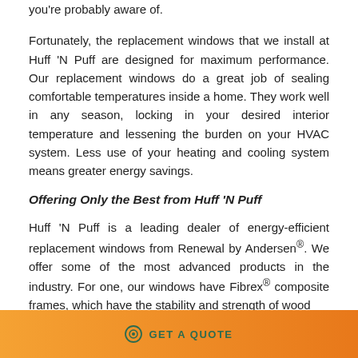you're probably aware of.
Fortunately, the replacement windows that we install at Huff 'N Puff are designed for maximum performance. Our replacement windows do a great job of sealing comfortable temperatures inside a home. They work well in any season, locking in your desired interior temperature and lessening the burden on your HVAC system. Less use of your heating and cooling system means greater energy savings.
Offering Only the Best from Huff 'N Puff
Huff 'N Puff is a leading dealer of energy-efficient replacement windows from Renewal by Andersen®. We offer some of the most advanced products in the industry. For one, our windows have Fibrex® composite frames, which have the stability and strength of wood
GET A QUOTE